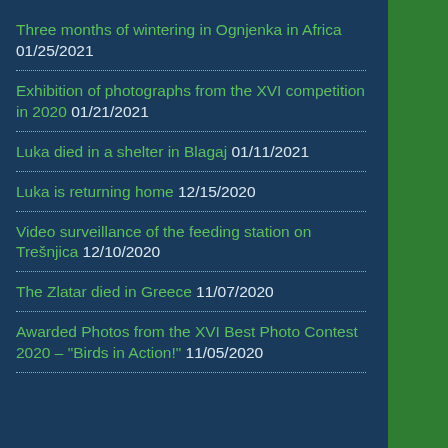Three months of wintering in Ognjenka in Africa 01/25/2021
Exhibition of photographs from the XVI competition in 2020 01/21/2021
Luka died in a shelter in Blagaj 01/11/2021
Luka is returning home 12/15/2020
Video surveillance of the feeding station on Trešnjica 12/10/2020
The Zlatar died in Greece 11/07/2020
Awarded Photos from the XVI Best Photo Contest 2020 – "Birds in Action!" 11/05/2020